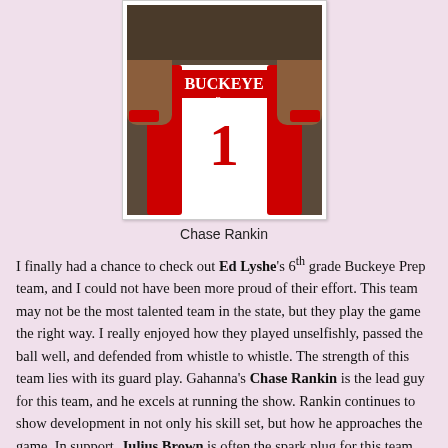[Figure (photo): Basketball player wearing a white Buckeye Prep jersey with the number 1 in red, with red accents and wristbands.]
Chase Rankin
I finally had a chance to check out Ed Lyshe's 6th grade Buckeye Prep team, and I could not have been more proud of their effort. This team may not be the most talented team in the state, but they play the game the right way. I really enjoyed how they played unselfishly, passed the ball well, and defended from whistle to whistle. The strength of this team lies with its guard play. Gahanna's Chase Rankin is the lead guy for this team, and he excels at running the show. Rankin continues to show development in not only his skill set, but how he approaches the game. In support, Julius Brown is often the spark plug for this team and brings toughness and aggressiveness to the table. This team is deep at the guard spot, as evidenced by the contribution of Troy Taylor Jr...